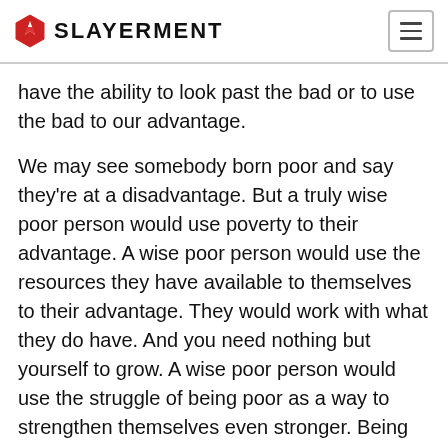Slayerment
have the ability to look past the bad or to use the bad to our advantage.
We may see somebody born poor and say they're at a disadvantage. But a truly wise poor person would use poverty to their advantage. A wise poor person would use the resources they have available to themselves to their advantage. They would work with what they do have. And you need nothing but yourself to grow. A wise poor person would use the struggle of being poor as a way to strengthen themselves even stronger. Being poor isn't bad, it's a state of being. Being poor is beautiful if you work with it and view it from the perspective of appreciation and creativity.